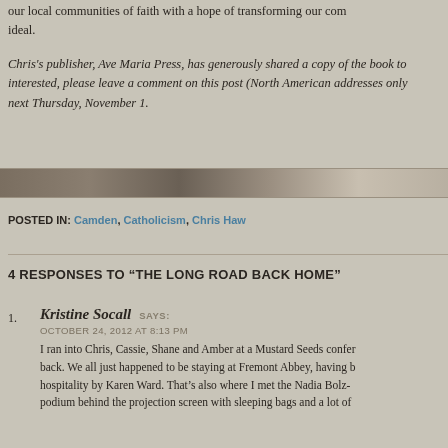our local communities of faith with a hope of transforming our communities from ideal.
Chris's publisher, Ave Maria Press, has generously shared a copy of the book to interested, please leave a comment on this post (North American addresses only next Thursday, November 1.
[Figure (photo): Decorative horizontal divider banner with a faded landscape/outdoor photographic texture in muted brown and grey tones]
POSTED IN: Camden, Catholicism, Chris Haw
4 RESPONSES TO “THE LONG ROAD BACK HOME”
1. Kristine Socall SAYS: OCTOBER 24, 2012 AT 8:13 PM I ran into Chris, Cassie, Shane and Amber at a Mustard Seeds confer back. We all just happened to be staying at Fremont Abbey, having hospitality by Karen Ward. That's also where I met the Nadia Bolz- podium behind the projection screen with sleeping bags and a lot of